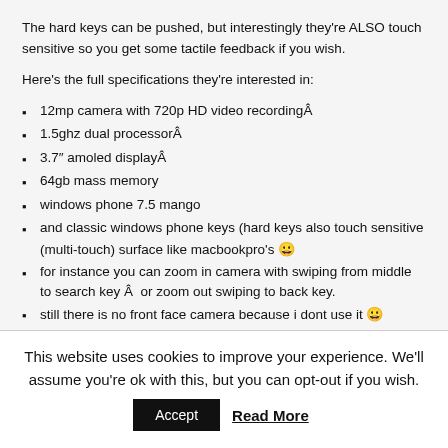The hard keys can be pushed, but interestingly they're ALSO touch sensitive so you get some tactile feedback if you wish.
Here's the full specifications they're interested in:
12mp camera with 720p HD video recordingÂ
1.5ghz dual processorÂ
3.7″ amoled displayÂ
64gb mass memory
windows phone 7.5 mango
and classic windows phone keys (hard keys also touch sensitive (multi-touch) surface like macbookpro's 😀
for instance you can zoom in camera with swiping from middle to search key Â  or zoom out swiping to back key.
still there is no front face camera because i dont use it 😀
This website uses cookies to improve your experience. We'll assume you're ok with this, but you can opt-out if you wish.